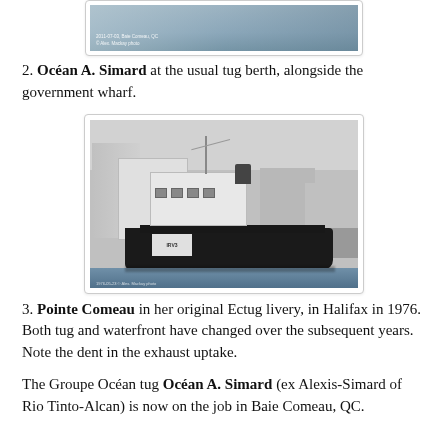[Figure (photo): Black and white photograph (cropped top) of a tug at a berth, small caption text visible at bottom left of image]
2. Océan A. Simard at the usual tug berth, alongside the government wharf.
[Figure (photo): Black and white photograph of the tug Pointe Comeau in Halifax harbour in 1976, showing the vessel with city buildings in background and waterfront]
3. Pointe Comeau in her original Ectug livery, in Halifax in 1976. Both tug and waterfront have changed over the subsequent years. Note the dent in the exhaust uptake.
The Groupe Océan tug Océan A. Simard (ex Alexis-Simard of Rio Tinto-Alcan) is now on the job in Baie Comeau, QC.